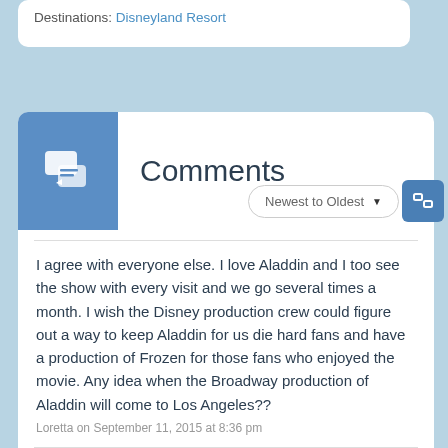Destinations: Disneyland Resort
Comments
I agree with everyone else. I love Aladdin and I too see the show with every visit and we go several times a month. I wish the Disney production crew could figure out a way to keep Aladdin for us die hard fans and have a production of Frozen for those fans who enjoyed the movie. Any idea when the Broadway production of Aladdin will come to Los Angeles??
Loretta on September 11, 2015 at 8:36 pm
Boo! Aladdin is wonderful, I like to see it every time I go. I love Frozen but I feel like Aladdin has wider appeal, especially with how the Genie's lines can be updated with the times. Very